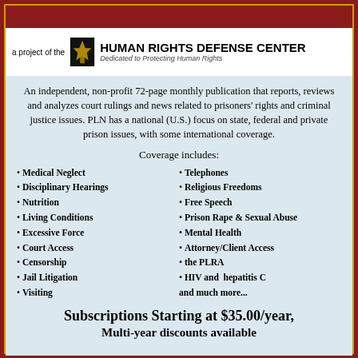[Figure (logo): Human Rights Defense Center logo with torch icon and text 'a project of the HUMAN RIGHTS DEFENSE CENTER - Dedicated to Protecting Human Rights']
An independent, non-profit 72-page monthly publication that reports, reviews and analyzes court rulings and news related to prisoners' rights and criminal justice issues. PLN has a national (U.S.) focus on state, federal and private prison issues, with some international coverage.
Coverage includes:
Medical Neglect
Disciplinary Hearings
Nutrition
Living Conditions
Excessive Force
Court Access
Censorship
Jail Litigation
Visiting
Telephones
Religious Freedoms
Free Speech
Prison Rape & Sexual Abuse
Mental Health
Attorney/Client Access
the PLRA
HIV and  hepatitis C
and much more...
Subscriptions Starting at $35.00/year,
Multi-year discounts available